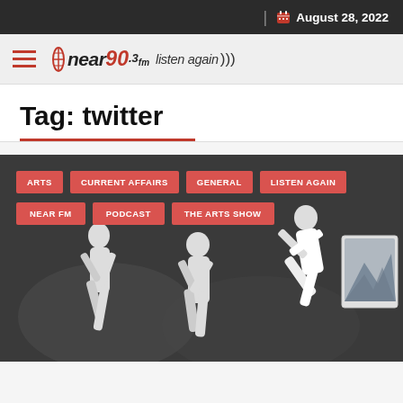August 28, 2022
[Figure (logo): Near 90.3fm listen again logo with hamburger menu icon]
Tag: twitter
[Figure (photo): Three performers in white on a dark stage, with category tag buttons overlaid: ARTS, CURRENT AFFAIRS, GENERAL, LISTEN AGAIN, NEAR FM, PODCAST, THE ARTS SHOW]